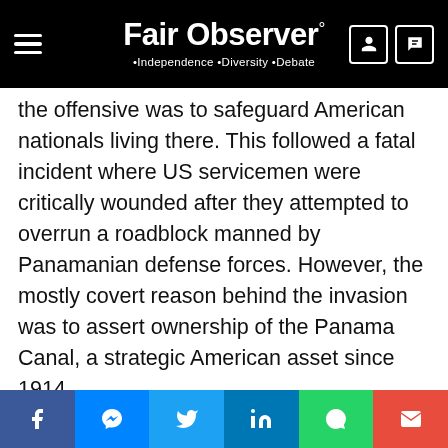Fair Observer° • Independence • Diversity • Debate
the offensive was to safeguard American nationals living there. This followed a fatal incident where US servicemen were critically wounded after they attempted to overrun a roadblock manned by Panamanian defense forces. However, the mostly covert reason behind the invasion was to assert ownership of the Panama Canal, a strategic American asset since 1914.
The Panamanian strongman at the time was Gen. Manuel Noriega, a long-time collaborator and informant on the payroll of the CIA, which Bush headed from 1976 to 1977. Noriega was propelled to the top post after the Reagan